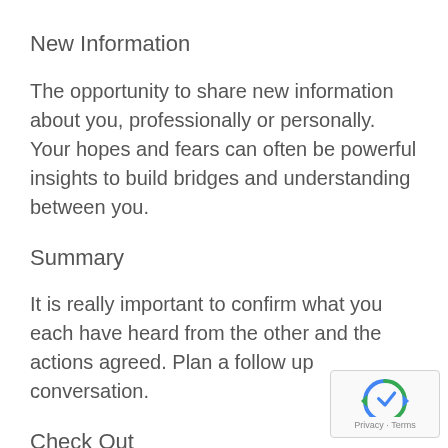New Information
The opportunity to share new information about you, professionally or personally. Your hopes and fears can often be powerful insights to build bridges and understanding between you.
Summary
It is really important to confirm what you each have heard from the other and the actions agreed. Plan a follow up conversation.
Check Out
At the end of the meeting, it can be useful sharing your individually reflections on how the session